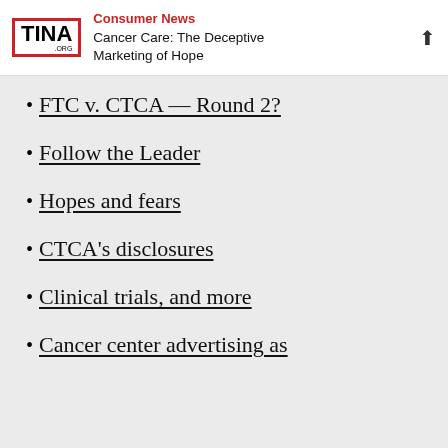Consumer News — Cancer Care: The Deceptive Marketing of Hope
FTC v. CTCA — Round 2?
Follow the Leader
Hopes and fears
CTCA's disclosures
Clinical trials, and more
Cancer center advertising as